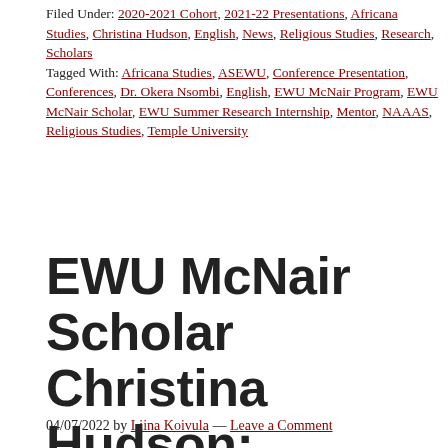Filed Under: 2020-2021 Cohort, 2021-22 Presentations, Africana Studies, Christina Hudson, English, News, Religious Studies, Research, Scholars
Tagged With: Africana Studies, ASEWU, Conference Presentation, Conferences, Dr. Okera Nsombi, English, EWU McNair Program, EWU McNair Scholar, EWU Summer Research Internship, Mentor, NAAAS, Religious Studies, Temple University
EWU McNair Scholar Christina Hudson: ASEWU Diversity Representative
04/07/2022 by Liina Koivula — Leave a Comment